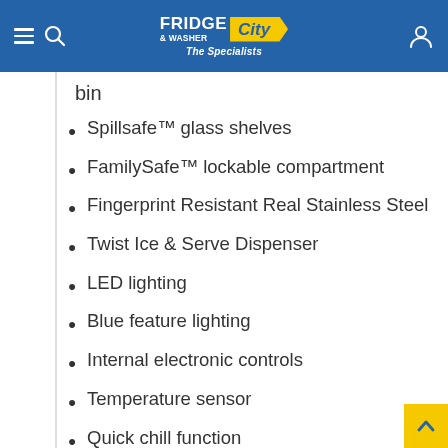FRIDGE & WASHER City — The Specialists
bin
Spillsafe™ glass shelves
FamilySafe™ lockable compartment
Fingerprint Resistant Real Stainless Steel
Twist Ice & Serve Dispenser
LED lighting
Blue feature lighting
Internal electronic controls
Temperature sensor
Quick chill function
Door alarm
More environmentally friendly refrigerant (R600a)